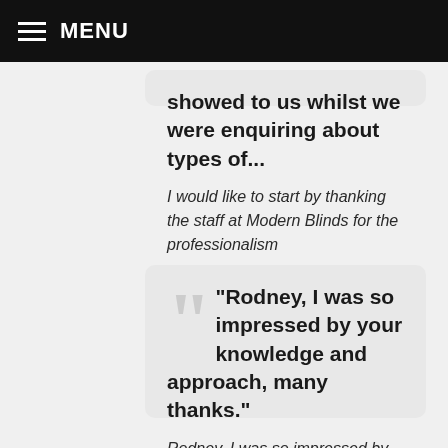MENU
showed to us whilst we were enquiring about types of...
I would like to start by thanking the staff at Modern Blinds for the professionalism
“Rodney, I was so impressed by your knowledge and approach, many thanks.”
Rodney, I was so impressed by your knowledge and approach